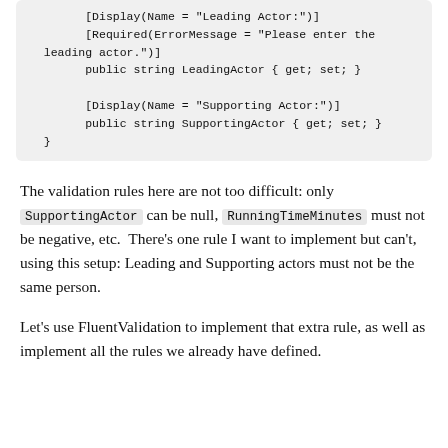[Display(Name = "Leading Actor:")]
        [Required(ErrorMessage = "Please enter the leading actor.")]
        public string LeadingActor { get; set; }

        [Display(Name = "Supporting Actor:")]
        public string SupportingActor { get; set; }
    }
The validation rules here are not too difficult: only SupportingActor can be null, RunningTimeMinutes must not be negative, etc.  There's one rule I want to implement but can't, using this setup: Leading and Supporting actors must not be the same person.
Let's use FluentValidation to implement that extra rule, as well as implement all the rules we already have defined.